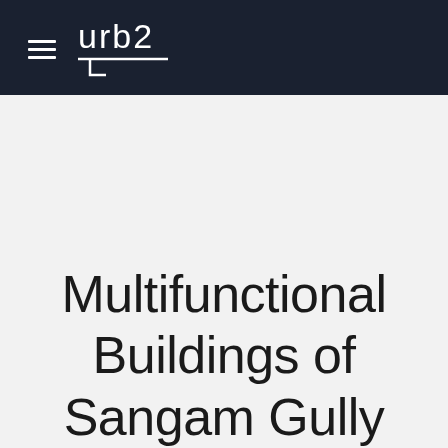urb2
Multifunctional Buildings of Sangam Gully